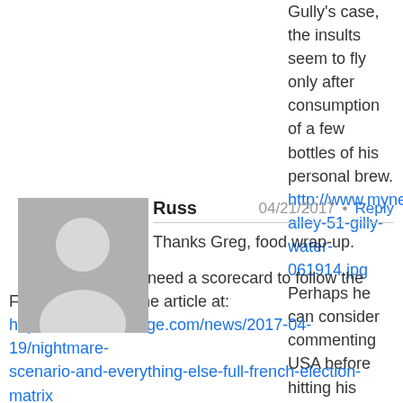Gully's case, the insults seem to fly only after consumption of a few bottles of his personal brew. http://www.mynews13.com/content/dam/news/i alley-51-gilly-water-061914.jpg Perhaps he can consider commenting USA before hitting his bottle.
Russ  04/21/2017 • Reply
Thanks Greg, food wrap-up.

For those who need a scorecard to follow the French elections, the article at: http://www.zerohedge.com/news/2017-04-19/nightmare-scenario-and-everything-else-full-french-election-matrix makes an attempt at figuring the odds of the candidates. The attack in Paris will shift those odds even further in Le Pen's favor.

Why should we care about French elections. If Marine Le Pen wins, she will stick a fork in the EU. It will be done, just waiting